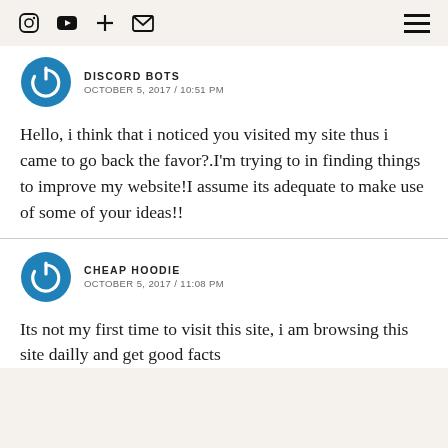Navigation bar with social icons and hamburger menu
DISCORD BOTS
OCTOBER 5, 2017 / 10:51 PM
Hello, i think that i noticed you visited my site thus i came to go back the favor?.I'm trying to in finding things to improve my website!I assume its adequate to make use of some of your ideas!!
CHEAP HOODIE
OCTOBER 5, 2017 / 11:08 PM
Its not my first time to visit this site, i am browsing this site dailly and get good facts from it on a regular basis.